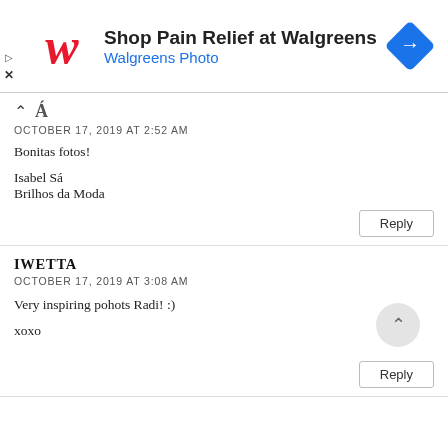[Figure (infographic): Walgreens advertisement banner with logo, text 'Shop Pain Relief at Walgreens' and 'Walgreens Photo', and a blue navigation/directions icon]
^ Á
OCTOBER 17, 2019 AT 2:52 AM
Bonitas fotos!
Isabel Sá
Brilhos da Moda
Reply
IWETTA
OCTOBER 17, 2019 AT 3:08 AM
Very inspiring pohots Radi! :)
xoxo
Reply